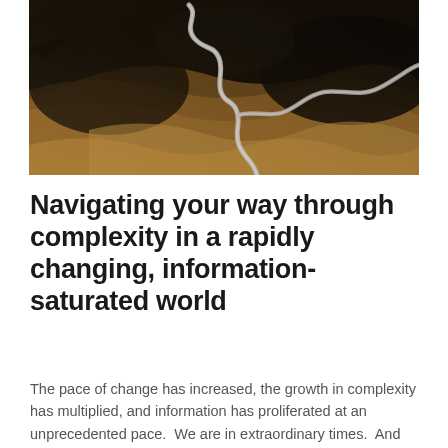[Figure (photo): Aerial photograph of a winding road or river cutting through dark rocky terrain with golden-brown textures, viewed from above.]
Navigating your way through complexity in a rapidly changing, information-saturated world
The pace of change has increased, the growth in complexity has multiplied, and information has proliferated at an unprecedented pace.  We are in extraordinary times.  And unprecedented times call for unique and disciplined approaches if we are to